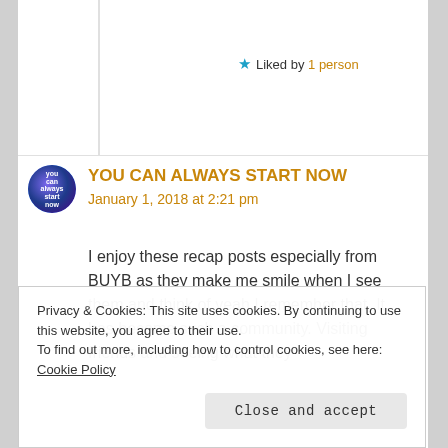★ Liked by 1 person
YOU CAN ALWAYS START NOW
January 1, 2018 at 2:21 pm
I enjoy these recap posts especially from BUYB as they make me smile when I see them and think of yeah I remember that. It has become such a community. Visiting friends and seeing what they
Privacy & Cookies: This site uses cookies. By continuing to use this website, you agree to their use.
To find out more, including how to control cookies, see here: Cookie Policy
Close and accept